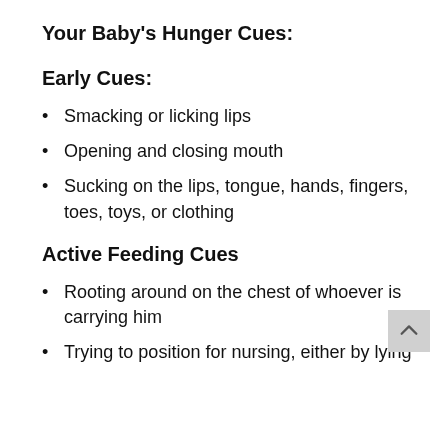Your Baby's Hunger Cues:
Early Cues:
Smacking or licking lips
Opening and closing mouth
Sucking on the lips, tongue, hands, fingers, toes, toys, or clothing
Active Feeding Cues
Rooting around on the chest of whoever is carrying him
Trying to position for nursing, either by lying